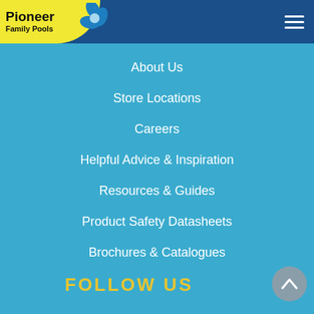[Figure (logo): Pioneer Family Pools logo with yellow blob background and blue flower graphic]
About Us
Store Locations
Careers
Helpful Advice & Inspiration
Resources & Guides
Product Safety Datasheets
Brochures & Catalogues
FOLLOW US